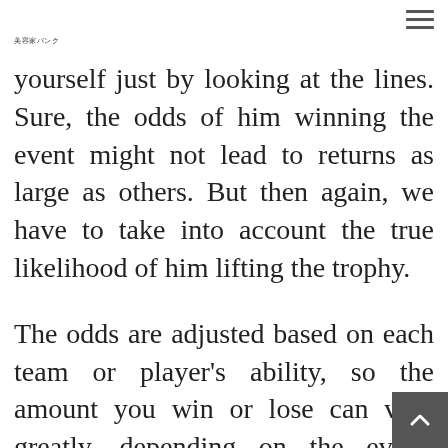美容家バンク
yourself just by looking at the lines. Sure, the odds of him winning the event might not lead to returns as large as others. But then again, we have to take into account the true likelihood of him lifting the trophy.
The odds are adjusted based on each team or player's ability, so the amount you win or lose can vary greatly, depending on the event. Moneyline bets are among the most popular in sports betting, and anyone new to the space should